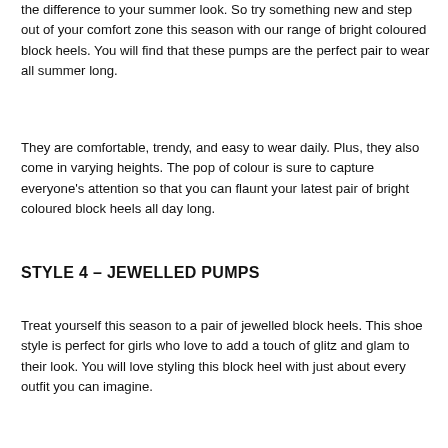the difference to your summer look. So try something new and step out of your comfort zone this season with our range of bright coloured block heels. You will find that these pumps are the perfect pair to wear all summer long.
They are comfortable, trendy, and easy to wear daily. Plus, they also come in varying heights. The pop of colour is sure to capture everyone's attention so that you can flaunt your latest pair of bright coloured block heels all day long.
STYLE 4 – JEWELLED PUMPS
Treat yourself this season to a pair of jewelled block heels. This shoe style is perfect for girls who love to add a touch of glitz and glam to their look. You will love styling this block heel with just about every outfit you can imagine.